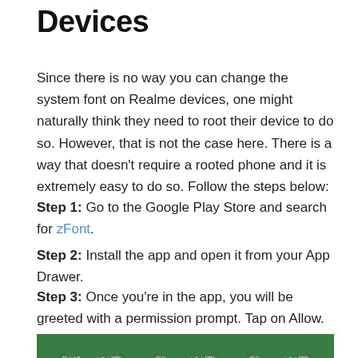Devices
Since there is no way you can change the system font on Realme devices, one might naturally think they need to root their device to do so. However, that is not the case here. There is a way that doesn’t require a rooted phone and it is extremely easy to do so. Follow the steps below:
Step 1: Go to the Google Play Store and search for zFont.
Step 2: Install the app and open it from your App Drawer.
Step 3: Once you’re in the app, you will be greeted with a permission prompt. Tap on Allow.
[Figure (screenshot): Three smartphone screenshots showing the zFont app interface on a green background. The phones display the font preview and selection screens.]